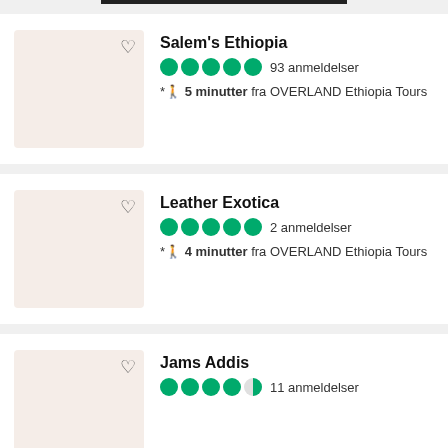Salem's Ethiopia — 93 anmeldelser — 5 minutter fra OVERLAND Ethiopia Tours
Leather Exotica — 2 anmeldelser — 4 minutter fra OVERLAND Ethiopia Tours
Jams Addis — 11 anmeldelser